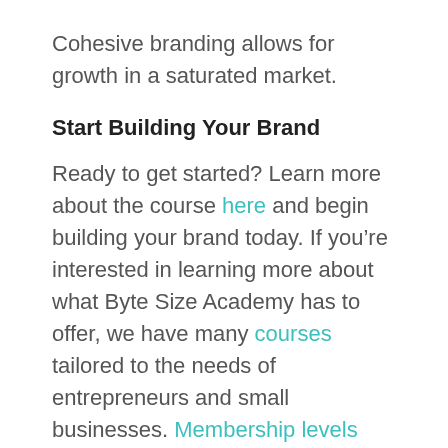Cohesive branding allows for growth in a saturated market.
Start Building Your Brand
Ready to get started? Learn more about the course here and begin building your brand today. If you’re interested in learning more about what Byte Size Academy has to offer, we have many courses tailored to the needs of entrepreneurs and small businesses. Membership levels start as low as $29 a month for access to all courses, live events, networking opportunities, and